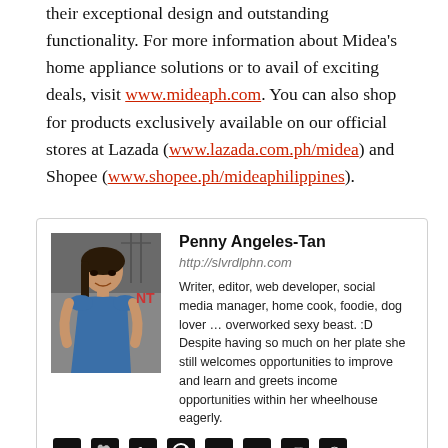their exceptional design and outstanding functionality. For more information about Midea's home appliance solutions or to avail of exciting deals, visit www.mideaph.com. You can also shop for products exclusively available on our official stores at Lazada (www.lazada.com.ph/midea) and Shopee (www.shopee.ph/mideaphilippines).
[Figure (infographic): Author bio card with photo of Penny Angeles-Tan, a woman in a gym, with name, website, description, and social media icons]